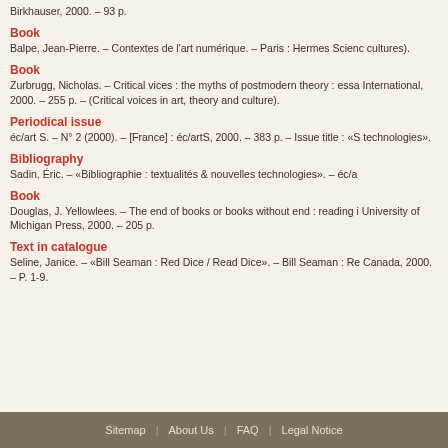Birkhauser, 2000. – 93 p.
Book
Balpe, Jean-Pierre. – Contextes de l'art numérique. – Paris : Hermes Science cultures).
Book
Zurbrugg, Nicholas. – Critical vices : the myths of postmodern theory : essay International, 2000. – 255 p. – (Critical voices in art, theory and culture).
Periodical issue
éc/art S. – N° 2 (2000). – [France] : éc/artS, 2000. – 383 p. – Issue title : «Sp technologies».
Bibliography
Sadin, Éric. – «Bibliographie : textualités & nouvelles technologies». – éc/a
Book
Douglas, J. Yellowlees. – The end of books or books without end : reading in University of Michigan Press, 2000. – 205 p.
Text in catalogue
Seline, Janice. – «Bill Seaman : Red Dice / Read Dice». – Bill Seaman : Re Canada, 2000. – P. 1-9.
Sitemap | About Us | FAQ | Legal Notice